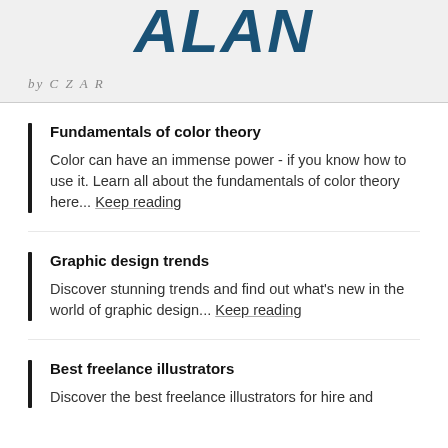[Figure (logo): Large bold italic uppercase navy blue logo text 'ALAN' on grey background]
by C Z A R
Fundamentals of color theory
Color can have an immense power - if you know how to use it. Learn all about the fundamentals of color theory here... Keep reading
Graphic design trends
Discover stunning trends and find out what's new in the world of graphic design... Keep reading
Best freelance illustrators
Discover the best freelance illustrators for hire and